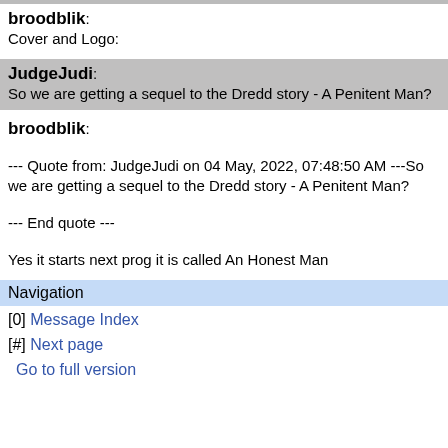broodblik:
Cover and Logo:
JudgeJudi:
So we are getting a sequel to the Dredd story - A Penitent Man?
broodblik:

--- Quote from: JudgeJudi on 04 May, 2022, 07:48:50 AM ---So we are getting a sequel to the Dredd story - A Penitent Man?

--- End quote ---

Yes it starts next prog it is called An Honest Man
Navigation
[0] Message Index
[#] Next page
Go to full version